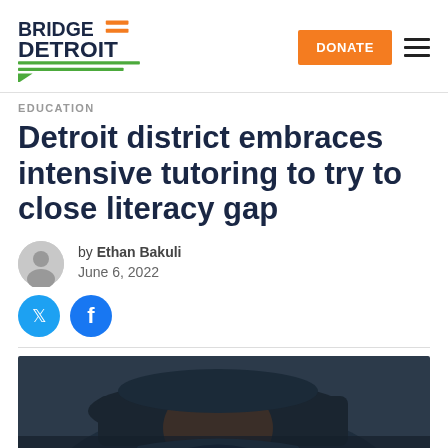Bridge Detroit — DONATE
EDUCATION
Detroit district embraces intensive tutoring to try to close literacy gap
by Ethan Bakuli
June 6, 2022
[Figure (photo): Close-up photograph of a person wearing a dark blue cap and jacket, partially obscuring their face]